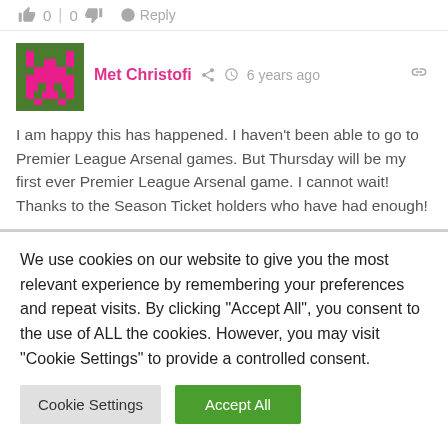👍 0 | 0 👎 → Reply
[Figure (illustration): Pixel art avatar with green background and pink space-invader style character]
Met Christofi  6 years ago
I am happy this has happened. I haven't been able to go to Premier League Arsenal games. But Thursday will be my first ever Premier League Arsenal game. I cannot wait! Thanks to the Season Ticket holders who have had enough!
We use cookies on our website to give you the most relevant experience by remembering your preferences and repeat visits. By clicking "Accept All", you consent to the use of ALL the cookies. However, you may visit "Cookie Settings" to provide a controlled consent.
Cookie Settings
Accept All